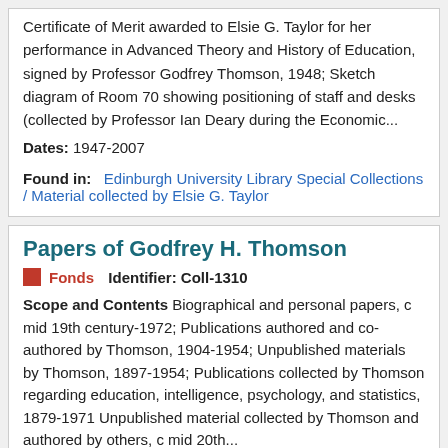Certificate of Merit awarded to Elsie G. Taylor for her performance in Advanced Theory and History of Education, signed by Professor Godfrey Thomson, 1948; Sketch diagram of Room 70 showing positioning of staff and desks (collected by Professor Ian Deary during the Economic...
Dates: 1947-2007
Found in: Edinburgh University Library Special Collections / Material collected by Elsie G. Taylor
Papers of Godfrey H. Thomson
Fonds   Identifier: Coll-1310
Scope and Contents Biographical and personal papers, c mid 19th century-1972; Publications authored and co-authored by Thomson, 1904-1954; Unpublished materials by Thomson, 1897-1954; Publications collected by Thomson regarding education, intelligence, psychology, and statistics, 1879-1971 Unpublished material collected by Thomson and authored by others, c mid 20th...
Dates: c1890s-1978